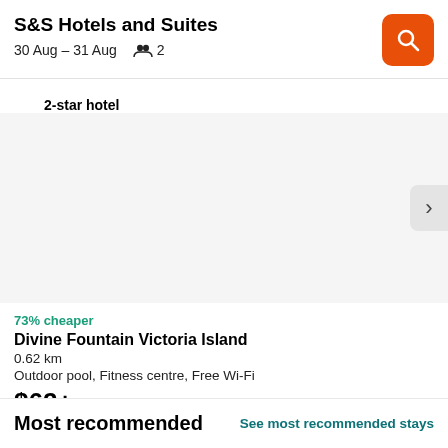S&S Hotels and Suites
30 Aug – 31 Aug  👥 2
2-star hotel
[Figure (photo): Hotel image placeholder area with a right-side navigation chevron button (›)]
73% cheaper
Divine Fountain Victoria Island
0.62 km
Outdoor pool, Fitness centre, Free Wi-Fi
$62+
Most recommended
See most recommended stays